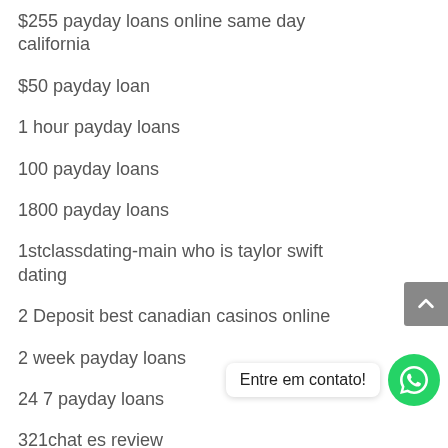$255 payday loans online same day california
$50 payday loan
1 hour payday loans
100 payday loans
1800 payday loans
1stclassdating-main who is taylor swift dating
2 Deposit best canadian casinos online
2 week payday loans
24 7 payday loans
321chat es review
321chat hookup site
321chat meetic